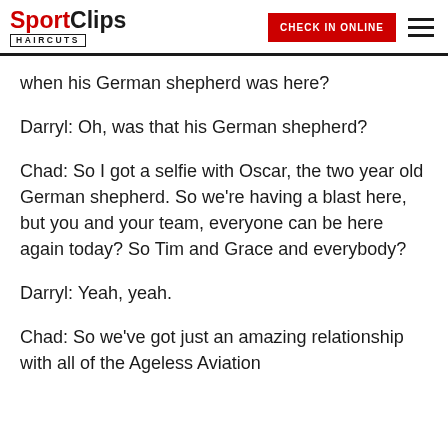[Figure (logo): Sport Clips Haircuts logo with red 'Sport' text and black 'Clips' text, HAIRCUTS in bordered box below]
[Figure (other): CHECK IN ONLINE red button and hamburger menu icon in header]
when his German shepherd was here?
Darryl: Oh, was that his German shepherd?
Chad: So I got a selfie with Oscar, the two year old German shepherd. So we're having a blast here, but you and your team, everyone can be here again today? So Tim and Grace and everybody?
Darryl: Yeah, yeah.
Chad: So we've got just an amazing relationship with all of the Ageless Aviation